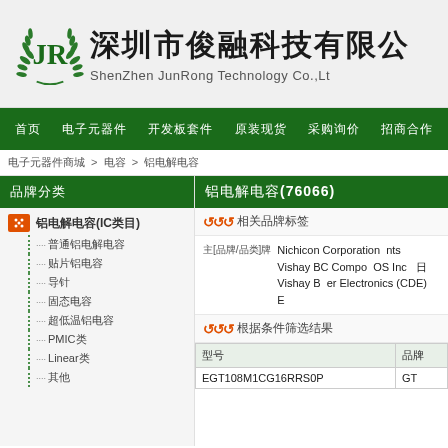[Figure (logo): JR laurel wreath logo with Chinese company name 深圳市俊融科技有限公司 and English name ShenZhen JunRong Technology Co.,Ltd]
首页  电子元器件  开发板套件  原装现货  采购询价  招商合作
电子元器件商城 > 电容 > 铝电解电容
品牌分类
铝电解电容(IC类目)
普通铝电解电容
贴片铝电容
导针
固态电容
超低温铝电容
PMIC类
Linear类
其他
铝电解电容(76066)
相关品牌标签
主[品牌/品类]牌: Nichicon Corporation  nts  Vishay BC Components  OS Inc  日  Vishay B  er Electronics (CDE)
根据条件筛选结果
| 型号 | 品牌 |
| --- | --- |
| EGT108M1CG16RRS0P | GT |